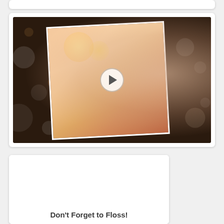[Figure (photo): Video thumbnail showing a smiling blonde woman with white teeth against a bokeh background, with a play button overlay in the center]
[Figure (photo): White card/panel with text at the bottom reading Don't Forget to Floss!]
Don't Forget to Floss!